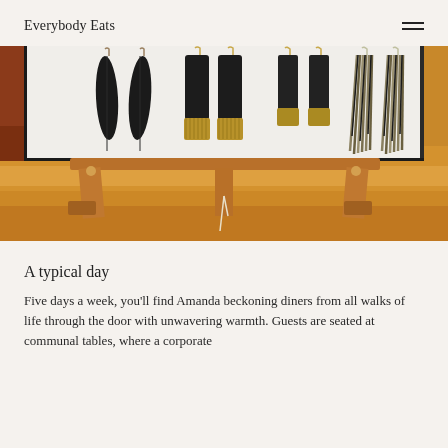Everybody Eats
[Figure (photo): Four pairs of earrings displayed on a white board on a small wooden easel. From left: black feather earrings, black tassel earrings with gold tips, black tassel earrings with gold base, and gold/black tassel earrings. Background is warm wood tones.]
A typical day
Five days a week, you'll find Amanda beckoning diners from all walks of life through the door with unwavering warmth. Guests are seated at communal tables, where a corporate